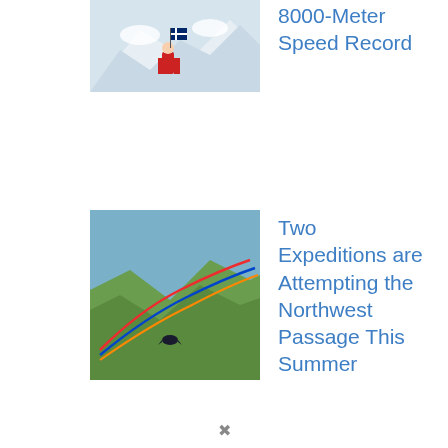[Figure (photo): Person in red jacket with Norwegian flag on snowy mountain terrain]
8000-Meter Speed Record
[Figure (photo): Aerial or landscape view of mountains with colorful route lines overlaid]
Two Expeditions are Attempting the Northwest Passage This Summer
v